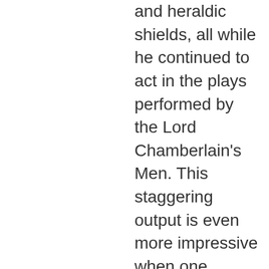and heraldic shields, all while he continued to act in the plays performed by the Lord Chamberlain's Men. This staggering output is even more impressive when one considers its variety. Except for the English history plays, he never wrote the same kind of play twice. He seems to have had a good deal of fun in trying his hand at every kind of play. Shakespeare wrote 154 sonnets, all published on 1609, most of which were dedicated to his patron Henry Wriothsley, The Earl of Southhampton. He also wrote 13 comedies, 13 histories, 6 tragedies